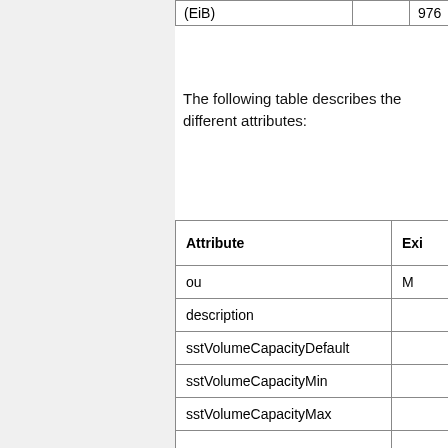|  |  |  |
| --- | --- | --- |
| (EiB) |  | 976 |
The following table describes the different attributes:
| Attribute | Exi... |
| --- | --- |
| ou | M |
| description |  |
| sstVolumeCapacityDefault |  |
| sstVolumeCapacityMin |  |
| sstVolumeCapacityMax |  |
| sstVolumeCapacityStep |  |